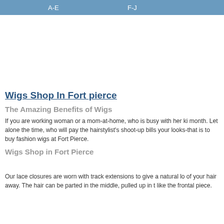A-E    F-J
Wigs Shop In Fort pierce
The Amazing Benefits of Wigs
If you are working woman or a mom-at-home, who is busy with her ki month. Let alone the time, who will pay the hairstylist's shoot-up bills your looks-that is to buy fashion wigs at Fort Pierce.
Wigs Shop in Fort Pierce
Our lace closures are worn with track extensions to give a natural lo of your hair away. The hair can be parted in the middle, pulled up in t like the frontal piece.